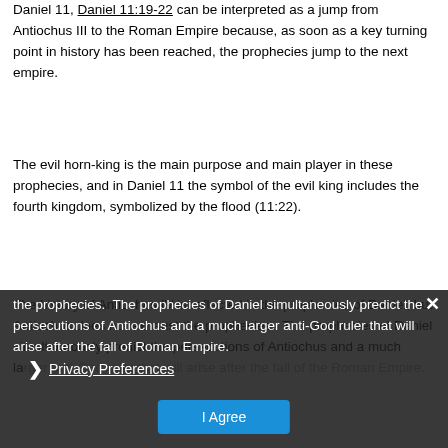Daniel 11, Daniel 11:19-22 can be interpreted as a jump from Antiochus III to the Roman Empire because, as soon as a key turning point in history has been reached, the prophecies jump to the next empire.
The evil horn-king is the main purpose and main player in these prophecies, and in Daniel 11 the symbol of the evil king includes the fourth kingdom, symbolized by the flood (11:22).
The history of Antiochus IV is reflected in the prophecies of Daniel, but Antiochus does not exhaust the prophecies.  The prophecies of Daniel simultaneously predict the persecutions of Antiochus and a much la[rger] anti-God ruler that will arise after the [fall of the] Roman Empire.